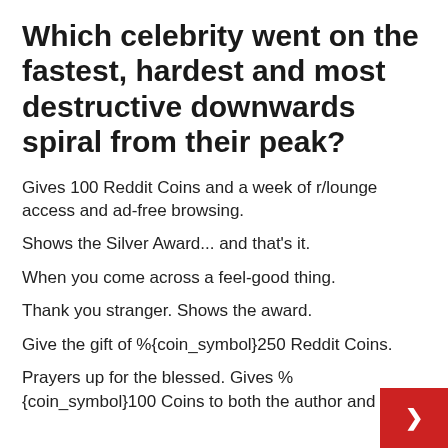Which celebrity went on the fastest, hardest and most destructive downwards spiral from their peak?
Gives 100 Reddit Coins and a week of r/lounge access and ad-free browsing.
Shows the Silver Award... and that's it.
When you come across a feel-good thing.
Thank you stranger. Shows the award.
Give the gift of %{coin_symbol}250 Reddit Coins.
Prayers up for the blessed. Gives %{coin_symbol}100 Coins to both the author and the